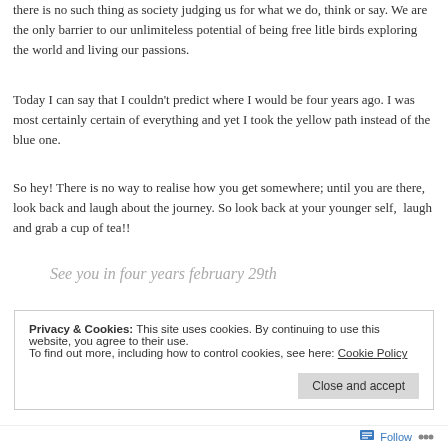there is no such thing as society judging us for what we do, think or say. We are the only barrier to our unlimiteless potential of being free litle birds exploring the world and living our passions.
Today I can say that I couldn't predict where I would be four years ago. I was most certainly certain of everything and yet I took the yellow path instead of the blue one.
So hey! There is no way to realise how you get somewhere; until you are there, look back and laugh about the journey. So look back at your younger self, laugh and grab a cup of tea!!
See you in four years february 29th
Privacy & Cookies: This site uses cookies. By continuing to use this website, you agree to their use.
To find out more, including how to control cookies, see here: Cookie Policy
Close and accept
Follow